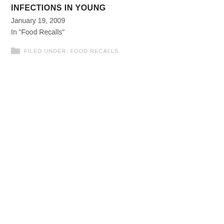INFECTIONS IN YOUNG
January 19, 2009
In "Food Recalls"
FILED UNDER: FOOD RECALLS